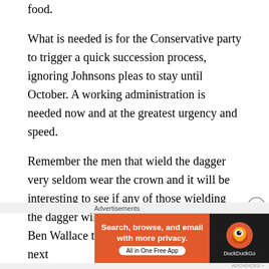food.
What is needed is for the Conservative party to trigger a quick succession process, ignoring Johnsons pleas to stay until October. A working administration is needed now and at the greatest urgency and speed.
Remember the men that wield the dagger very seldom wear the crown and it will be interesting to see if any of those wielding the dagger will remain in power. Or will Ben Wallace the odds on favourite be the next
[Figure (screenshot): DuckDuckGo advertisement banner: orange section with text 'Search, browse, and email with more privacy. All in One Free App', dark section with DuckDuckGo duck logo and brand name.]